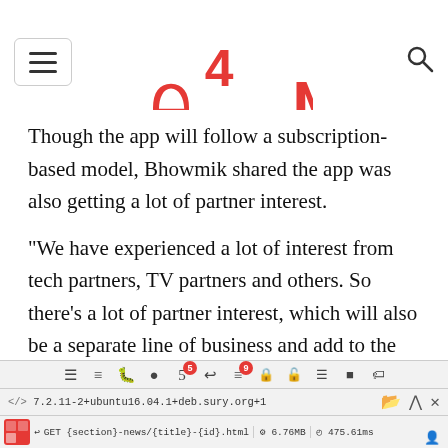[Figure (logo): e4m logo in red with stylized lettering]
Though the app will follow a subscription-based model, Bhowmik shared the app was also getting a lot of partner interest.
“We have experienced a lot of interest from tech partners, TV partners and others. So there's a lot of partner interest, which will also be a separate line of business and add to the revenue. We will also open conversations with multiple schools across the country, and take the app to schools.
</> 7.2.11-2+ubuntu16.04.1+deb.sury.org+1  GET {section}-news/{title}-{id}.html  6.76MB  475.61ms